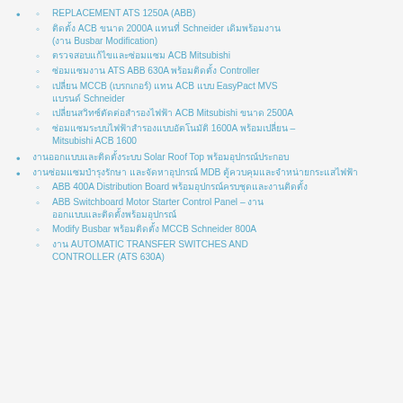REPLACEMENT ATS 1250A (ABB)
ติดตั้ง ACB ขนาด 2000A แทนที่ Schneider เดิมพร้อมงาน (งาน Busbar Modification)
ตรวจสอบแก้ไขและซ่อมแซม ACB Mitsubishi
ซ่อมแซมงาน ATS ABB 630A พร้อมติดตั้ง Controller
เปลี่ยน MCCB (เบรกเกอร์) แทน ACB แบบ EasyPact MVS แบรนด์ Schneider
เปลี่ยนสวิทซ์ตัดต่อสำรองไฟฟ้า ACB Mitsubishi ขนาด 2500A
ซ่อมแซมระบบไฟฟ้าสำรองแบบอัตโนมัติ 1600A พร้อมเปลี่ยน – Mitsubishi ACB 1600
งานออกแบบและติดตั้งระบบ Solar Roof Top พร้อมอุปกรณ์ประกอบ
งานซ่อมแซมบำรุงรักษา และจัดหาอุปกรณ์ MDB ตู้ควบคุมและจำหน่ายกระแสไฟฟ้า
ABB 400A Distribution Board พร้อมอุปกรณ์ครบชุดและงานติดตั้ง
ABB Switchboard Motor Starter Control Panel – งาน ออกแบบและติดตั้งพร้อมอุปกรณ์
Modify Busbar พร้อมติดตั้ง MCCB Schneider 800A
งาน AUTOMATIC TRANSFER SWITCHES AND CONTROLLER (ATS 630A)